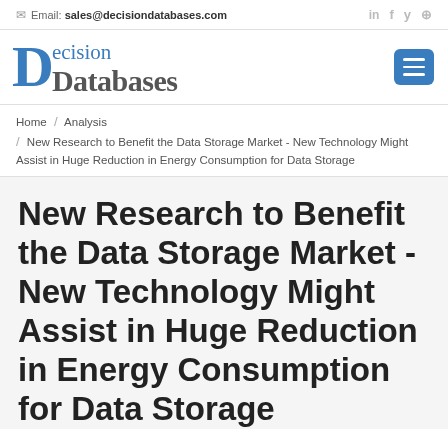✉ Email: sales@decisiondatabases.com  in  f  🐦  p
[Figure (logo): Decision Databases logo with large blue 'D' and stylized text 'Decision Databases']
Home / Analysis / New Research to Benefit the Data Storage Market - New Technology Might Assist in Huge Reduction in Energy Consumption for Data Storage
New Research to Benefit the Data Storage Market - New Technology Might Assist in Huge Reduction in Energy Consumption for Data Storage